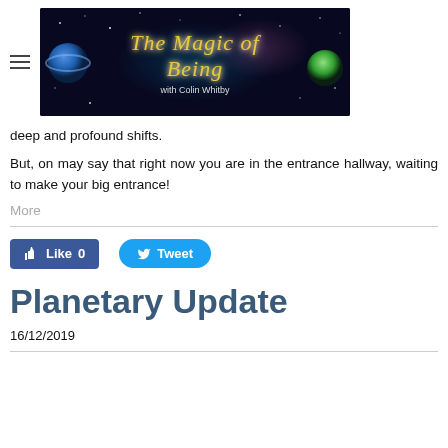The Magic of Being with Colin Whitby
deep and profound shifts.
But, on may say that right now you are in the entrance hallway, waiting to make your big entrance!
More
[Figure (screenshot): Facebook Like button showing Like 0 and Twitter Tweet button]
Planetary Update
16/12/2019